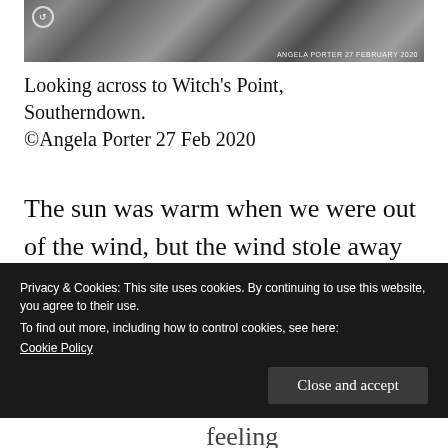[Figure (photo): Photograph of rocky coastal scenery looking across to Witch's Point, Southerndown, with watermark 'ANGELA PORTER 27 FEBRUARY 2020']
Looking across to Witch's Point, Southerndown.
©Angela Porter 27 Feb 2020
The sun was warm when we were out of the wind, but the wind stole away any warmth from the sun and a bit extra from our bodies. Soon we were quite chilled, despite being bundled up. My fingers were feeling
Privacy & Cookies: This site uses cookies. By continuing to use this website, you agree to their use.
To find out more, including how to control cookies, see here:
Cookie Policy
Close and accept